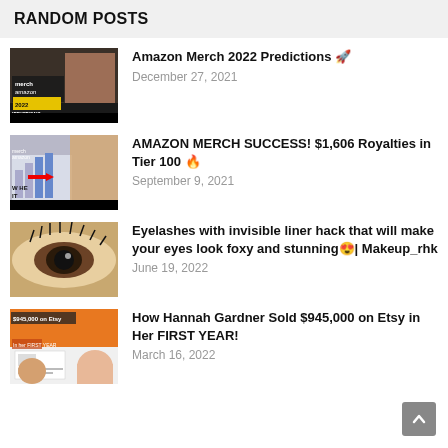RANDOM POSTS
[Figure (screenshot): Thumbnail image for Amazon Merch 2022 Predictions video showing a man and 'merch amazon 2022 PREDICTIONS' text]
Amazon Merch 2022 Predictions 🚀
December 27, 2021
[Figure (screenshot): Thumbnail for Amazon Merch Success video showing a man with a chart and red arrow labeled 'W HE IT']
AMAZON MERCH SUCCESS! $1,606 Royalties in Tier 100 🔥
September 9, 2021
[Figure (screenshot): Thumbnail showing a close-up of an eye with dramatic eyelash makeup]
Eyelashes with invisible liner hack that will make your eyes look foxy and stunning😍| Makeup_rhk
June 19, 2022
[Figure (screenshot): Thumbnail showing a woman with $945,000 on Etsy text overlay, 'In her FIRST YEAR']
How Hannah Gardner Sold $945,000 on Etsy in Her FIRST YEAR!
March 16, 2022